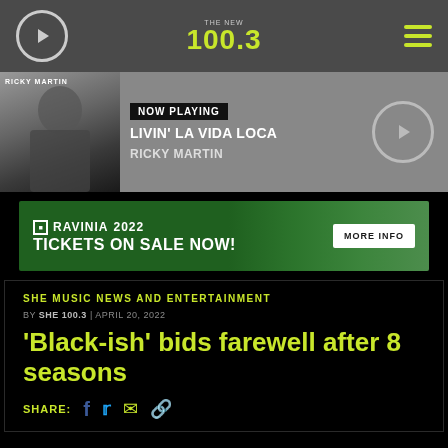THE NEW 100.3
[Figure (screenshot): Now Playing bar showing Ricky Martin album art with text: NOW PLAYING / LIVIN' LA VIDA LOCA / RICKY MARTIN and a play button]
[Figure (other): Advertisement banner: RAVINIA 2022 TICKETS ON SALE NOW! MORE INFO]
SHE MUSIC NEWS AND ENTERTAINMENT
BY SHE 100.3 | APRIL 20, 2022
'Black-ish' bids farewell after 8 seasons
SHARE: